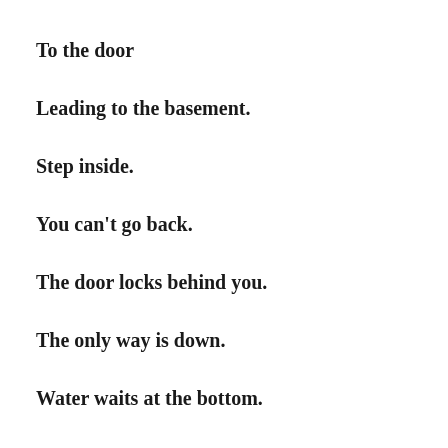To the door
Leading to the basement.
Step inside.
You can’t go back.
The door locks behind you.
The only way is down.
Water waits at the bottom.
Walk through the cold water